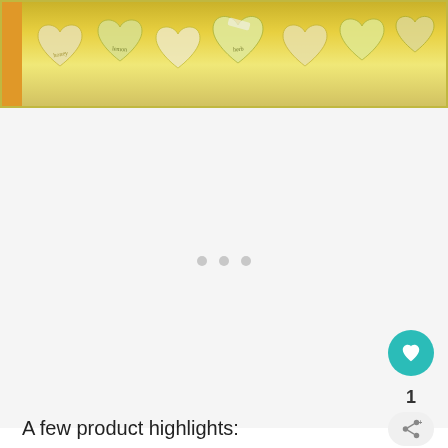[Figure (photo): Product photo showing multiple small heart-shaped yellow/green soap or candy items arranged together, partially cropped at top]
[Figure (other): Carousel image area with loading dots indicator (three grey dots centered)]
A few product highlights: